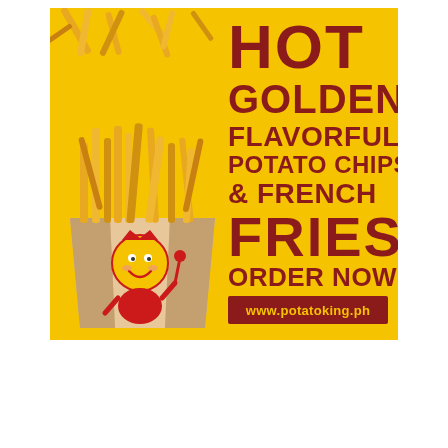[Figure (illustration): Advertisement for Potato King featuring golden french fries spilling out of a paper cup with a cartoon potato king mascot logo, on a bright yellow background. Right side has bold dark red text: HOT GOLDEN FLAVORFUL POTATO CHIPS & FRENCH FRIES ORDER NOW! www.potatoking.ph]